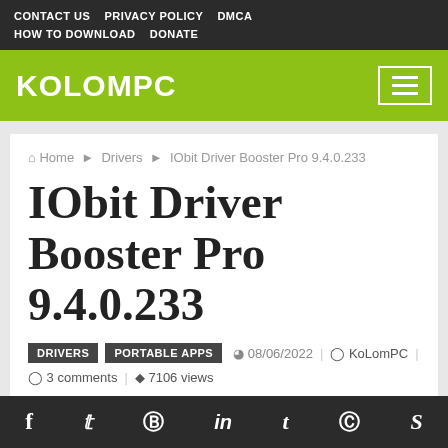CONTACT US   PRIVACY POLICY   DMCA   HOW TO DOWNLOAD   DONATE
KOLOMPC
Home › Drivers › IObit Driver Booster Pro 9.4.0.233
IObit Driver Booster Pro 9.4.0.233
DRIVERS   PORTABLE APPS   08/06/2022   KoLomPC   3 comments   7106 views
f  Twitter  Pinterest  in  t  Reddit  Skype